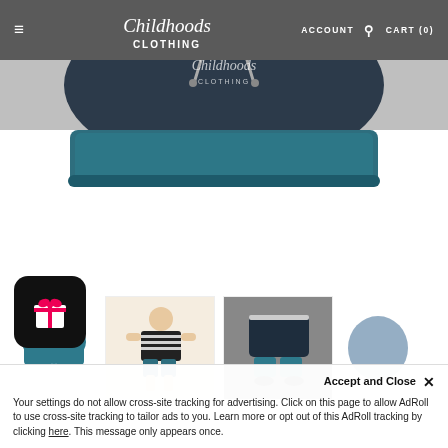≡  Childhoods Clothing  ACCOUNT  🔍  CART (0)
[Figure (photo): Close-up product photo of dark navy/teal children's shorts with drawstring on white background]
[Figure (photo): Thumbnail: teal blue children's shorts flat lay]
[Figure (photo): Thumbnail: child wearing black striped t-shirt and blue shorts]
[Figure (photo): Thumbnail: children's clothing set (navy t-shirt with white stripes and teal shorts) on gray background]
[Figure (photo): Thumbnail: partial view of blue/gray item]
Your settings do not allow cross-site tracking for advertising. Click on this page to allow AdRoll to use cross-site tracking to tailor ads to you. Learn more or opt out of this AdRoll tracking by clicking here. This message only appears once.